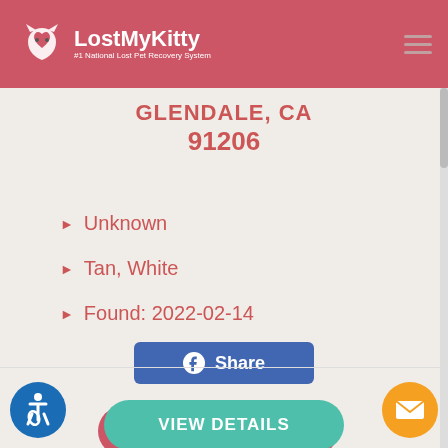LostMyKitty — #1 National Lost Pet Recovery System
GLENDALE, CA 91206
Unknown
Tan, White
Found: 2022-02-14
Share
VIEW DETAILS